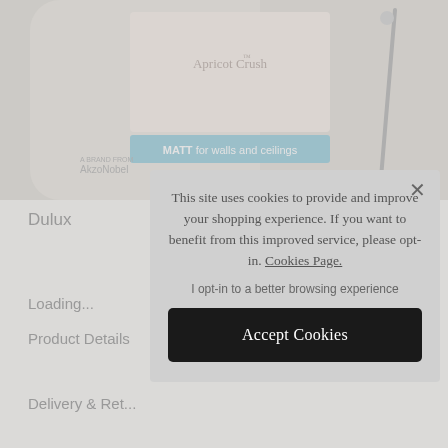[Figure (photo): Paint can of Dulux Apricot Crush Matt paint for walls and ceilings, showing a cream/apricot colour swatch panel with 'Apricot Crush' label and a blue banner reading 'MATT for walls and ceilings'. AkzoNobel brand visible on can.]
Dulux
Loading...
Product Details
Delivery & Returns
This site uses cookies to provide and improve your shopping experience. If you want to benefit from this improved service, please opt-in. Cookies Page.
I opt-in to a better browsing experience
Accept Cookies